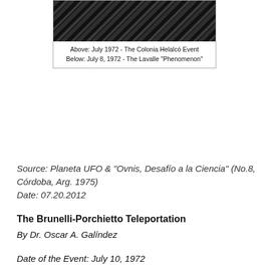[Figure (photo): Black and white photograph of a landscape or aerial scene, partially visible at top of page]
Above: July 1972 - The Colonia Helalcó Event
Below: July 8, 1972 - The Lavalle "Phenomenon"
Source: Planeta UFO & "Ovnis, Desafío a la Ciencia" (No.8, Córdoba, Arg. 1975)
Date: 07.20.2012
The Brunelli-Porchietto Teleportation
By Dr. Oscar A. Galíndez
Date of the Event: July 10, 1972